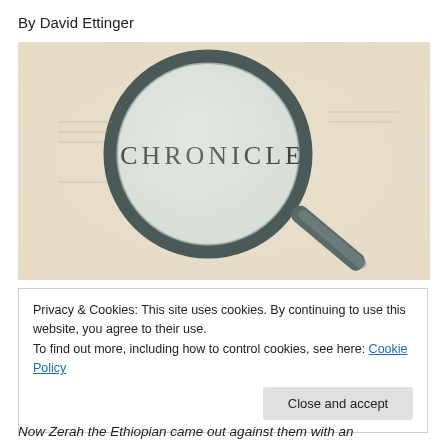By David Ettinger
[Figure (photo): A magnifying glass held over a book page showing the text '2 CHRONICLES' enlarged through the lens, on a beige/cream background.]
Privacy & Cookies: This site uses cookies. By continuing to use this website, you agree to their use.
To find out more, including how to control cookies, see here: Cookie Policy
Close and accept
Now Zerah the Ethiopian came out against them with an